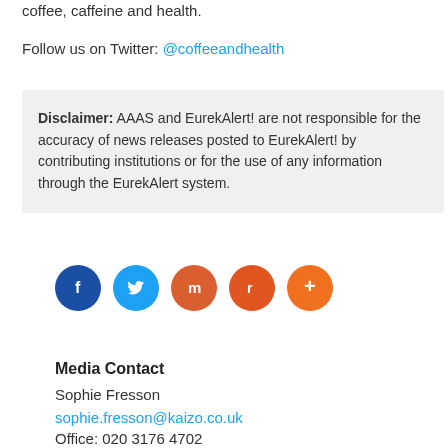coffee, caffeine and health.
Follow us on Twitter: @coffeeandhealth
Disclaimer: AAAS and EurekAlert! are not responsible for the accuracy of news releases posted to EurekAlert! by contributing institutions or for the use of any information through the EurekAlert system.
[Figure (infographic): Row of five social media share buttons: Facebook (dark blue, f), Twitter (light blue, bird), Mix (orange-red, m), Reddit (orange-red, alien), and a plus/more button (orange)]
Media Contact
Sophie Fresson
sophie.fresson@kaizo.co.uk
Office: 020 3176 4702